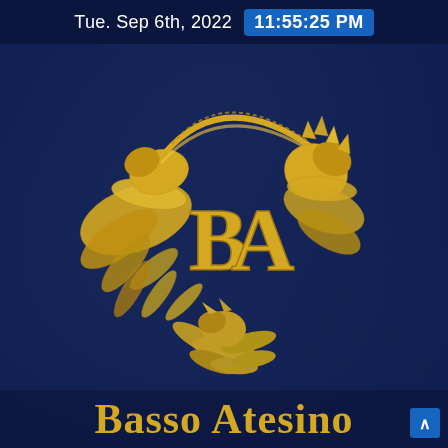Tue. Sep 6th, 2022  11:55:25 PM
[Figure (logo): Basso Atesino company logo: a golden ornate dragon/phoenix wreath encircling the letters 'BA' in gold, on a dark navy blue background with a blurred office/hands image behind it]
Basso Atesino